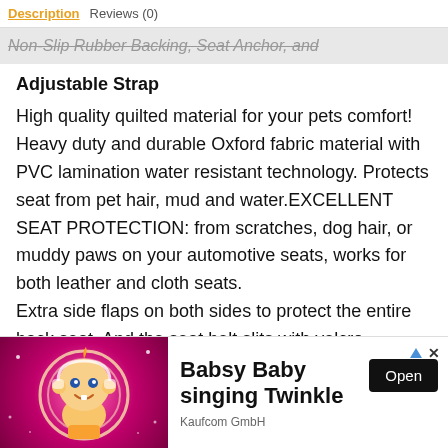Description   Reviews (0)
Non-Slip Rubber Backing, Seat Anchor, and Adjustable Strap
High quality quilted material for your pets comfort! Heavy duty and durable Oxford fabric material with PVC lamination water resistant technology. Protects seat from pet hair, mud and water.EXCELLENT SEAT PROTECTION: from scratches, dog hair, or muddy paws on your automotive seats, works for both leather and cloth seats.
Extra side flaps on both sides to protect the entire back seat. And the seat belt slits with velcro closures allows the seat belt buckles easily get through and
[Figure (illustration): Animated baby cartoon character (Babsy Baby) on a pink/magenta radial gradient background with sparkles, used as advertisement thumbnail]
Babsy Baby singing Twinkle
Kaufcom GmbH